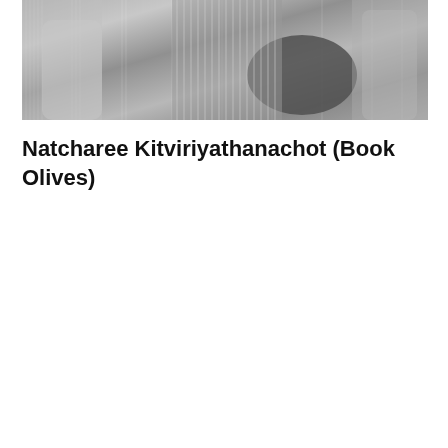[Figure (photo): Grayscale photograph of a person, cropped showing torso area with fabric/clothing visible, against a textured background]
Natcharee Kitviriyathanachot (Book Olives)